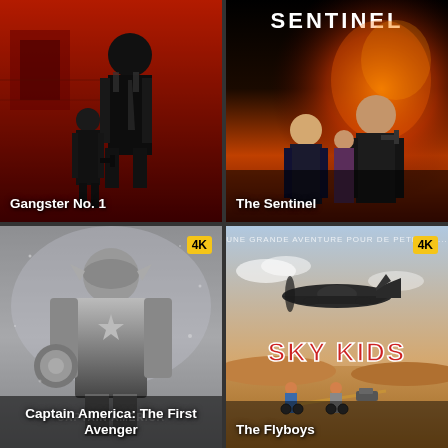[Figure (photo): Movie poster for Gangster No. 1 - dark red/black silhouette of two men in suits]
Gangster No. 1
[Figure (photo): Movie poster for The Sentinel - action thriller with actors against fiery background, title SENTINEL at top]
The Sentinel
[Figure (photo): Movie poster for Captain America: The First Avenger - grayscale superhero with shield, 4K badge]
Captain America: The First Avenger
[Figure (photo): Movie poster for The Flyboys / Sky Kids - airplane and kids on bicycles in desert, 4K badge]
The Flyboys